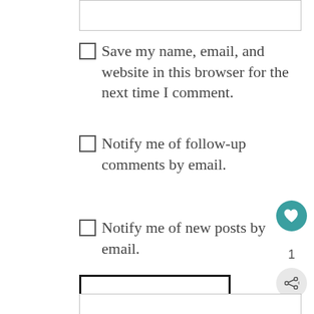[Figure (screenshot): Top portion of a text input box (comment form field), partially visible at the top of the page]
Save my name, email, and website in this browser for the next time I comment.
Notify me of follow-up comments by email.
Notify me of new posts by email.
POST COMMENT
This site uses Akismet to reduce spam. Learn how your comment data is processed.
[Figure (screenshot): Bottom portion of a text input box (comment form field), partially visible at the bottom of the page]